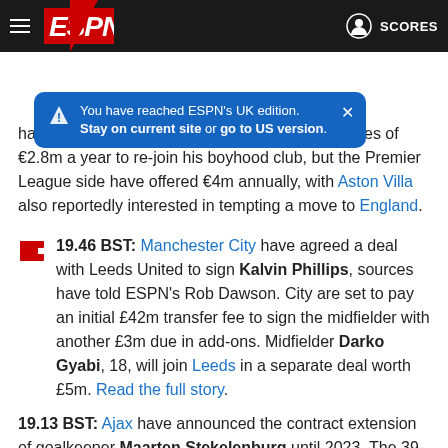[Figure (screenshot): ESPN navigation bar with hamburger menu, ESPN logo with red triangle accent, user icon and SCORES link on the right]
[Figure (infographic): Blue tooltip/notification box reading: You have reached ESPN's UK edition. Stay on current site or go to US version.]
have already presented the 27-year-old with wages of €2.8m a year to re-join his boyhood club, but the Premier League side have offered €4m annually, with Aston Villa also reportedly interested in tempting a move to England.
19.46 BST: Manchester City have agreed a deal with Leeds United to sign Kalvin Phillips, sources have told ESPN's Rob Dawson. City are set to pay an initial £42m transfer fee to sign the midfielder with another £3m due in add-ons. Midfielder Darko Gyabi, 18, will join Leeds in a separate deal worth £5m. Read the full story.
19.13 BST: Ajax have announced the contract extension of goalkeeper Maarten Stekelenburg until 2023. The 39-year-